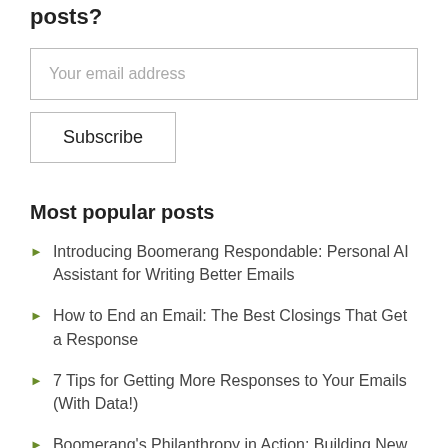posts?
Your email address
Subscribe
Most popular posts
Introducing Boomerang Respondable: Personal AI Assistant for Writing Better Emails
How to End an Email: The Best Closings That Get a Response
7 Tips for Getting More Responses to Your Emails (With Data!)
Boomerang's Philanthropy in Action: Building New Schools in Burma
Schedule text messages from your